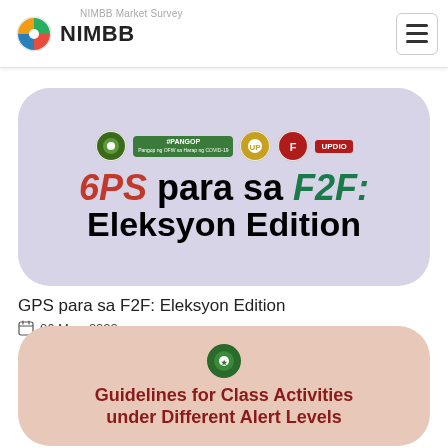NIMBB | NIMBB Market Survey
[Figure (illustration): Article thumbnail with lavender rounded rectangle background showing logos of organizations and bold text reading '6PS para sa F2F: Eleksyon Edition' in red, black, and green]
GPS para sa F2F: Eleksyon Edition
06 May, 2022
[Figure (illustration): Article thumbnail with salmon/peach rounded rectangle background showing a green circular seal/logo and bold dark red text reading 'Guidelines for Class Activities under Different Alert Levels']